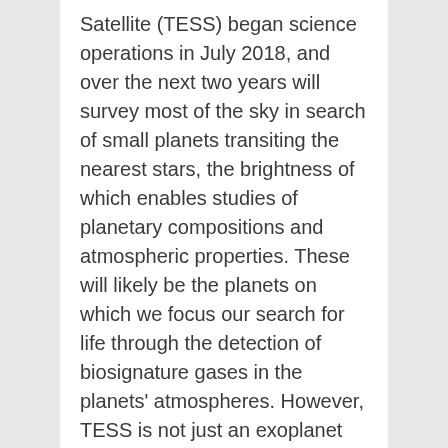Satellite (TESS) began science operations in July 2018, and over the next two years will survey most of the sky in search of small planets transiting the nearest stars, the brightness of which enables studies of planetary compositions and atmospheric properties. These will likely be the planets on which we focus our search for life through the detection of biosignature gases in the planets' atmospheres. However, TESS is not just an exoplanet mission; by monitoring...
Ancient DNA and the New